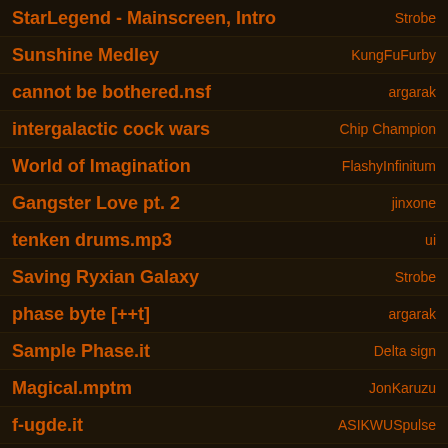StarLegend - Mainscreen, Intro | Strobe
Sunshine Medley | KungFuFurby
cannot be bothered.nsf | argarak
intergalactic cock wars | Chip Champion
World of Imagination | FlashyInfinitum
Gangster Love pt. 2 | jinxone
tenken drums.mp3 | ui
Saving Ryxian Galaxy | Strobe
phase byte [++t] | argarak
Sample Phase.it | Delta sign
Magical.mptm | JonKaruzu
f-ugde.it | ASIKWUSpulse
hein.mptm | ...